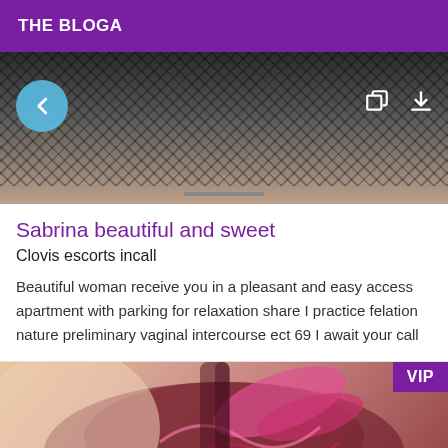THE BLOGA
[Figure (photo): Top portion of a photo showing fishnet stockings and skin tones with a back navigation button (blue circle with left arrow) and share/download icons in the top right corner, on a dark background]
Sabrina beautiful and sweet
Clovis escorts incall
Beautiful woman receive you in a pleasant and easy access apartment with parking for relaxation share I practice felation nature preliminary vaginal intercourse ect 69 I await your call
[Figure (photo): Photo of decorative pink and dark maroon lingerie with floral/ribbon details against a warm beige/skin-tone background, with a purple VIP badge in the top right corner]